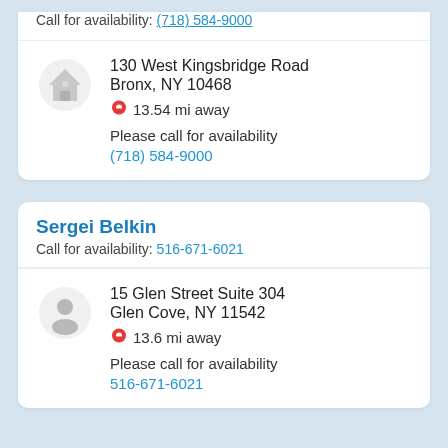Call for availability: (718) 584-9000
130 West Kingsbridge Road
Bronx, NY 10468
13.54 mi away
Please call for availability
(718) 584-9000
Sergei Belkin
Call for availability: 516-671-6021
15 Glen Street Suite 304
Glen Cove, NY 11542
13.6 mi away
Please call for availability
516-671-6021